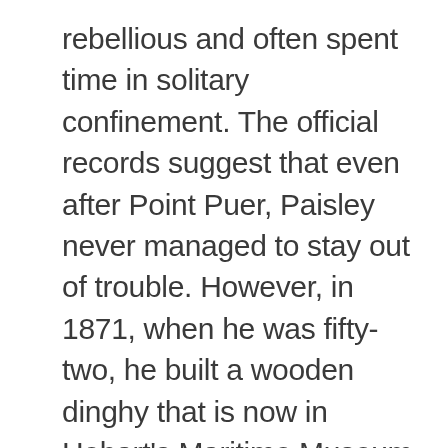rebellious and often spent time in solitary confinement. The official records suggest that even after Point Puer, Paisley never managed to stay out of trouble. However, in 1871, when he was fifty-two, he built a wooden dinghy that is now in Hobart's Maritime Museum of Tasmania.